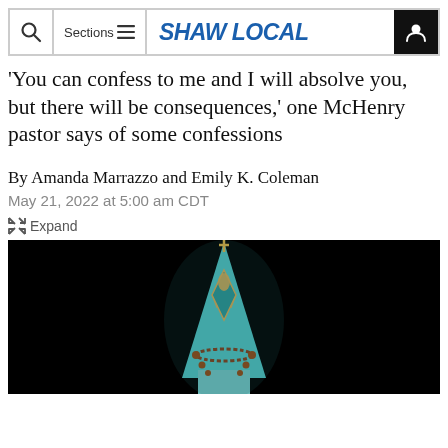SHAW LOCAL
'You can confess to me and I will absolve you, but there will be consequences,' one McHenry pastor says of some confessions
By Amanda Marrazzo and Emily K. Coleman
May 21, 2022 at 5:00 am CDT
Expand
[Figure (photo): Photo of a church steeple with teal/turquoise decorative top and rosary beads draped around it, photographed against a dark/black background.]